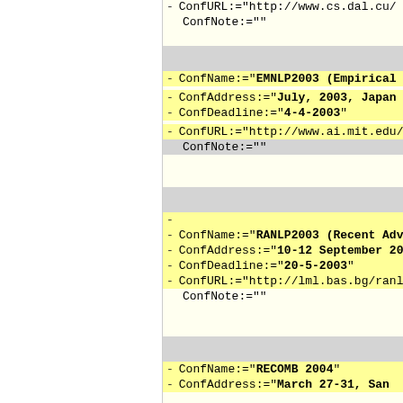ConfURL:="http://www.cs.dal.cu/
ConfNote:=""
ConfName:="EMNLP2003 (Empirical...
ConfAddress:="July, 2003, Japan...
ConfDeadline:="4-4-2003"
ConfURL:="http://www.ai.mit.edu/
ConfNote:=""
-
ConfName:="RANLP2003 (Recent Adv...
ConfAddress:="10-12 September 20...
ConfDeadline:="20-5-2003"
ConfURL:="http://lml.bas.bg/ranl...
ConfNote:=""
ConfName:="RECOMB 2004"
ConfAddress:="March 27-31, San...